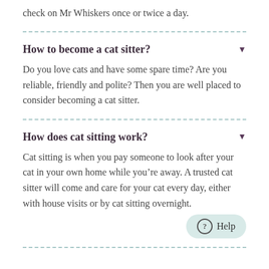check on Mr Whiskers once or twice a day.
How to become a cat sitter?
Do you love cats and have some spare time? Are you reliable, friendly and polite? Then you are well placed to consider becoming a cat sitter.
How does cat sitting work?
Cat sitting is when you pay someone to look after your cat in your own home while you're away. A trusted cat sitter will come and care for your cat every day, either with house visits or by cat sitting overnight.